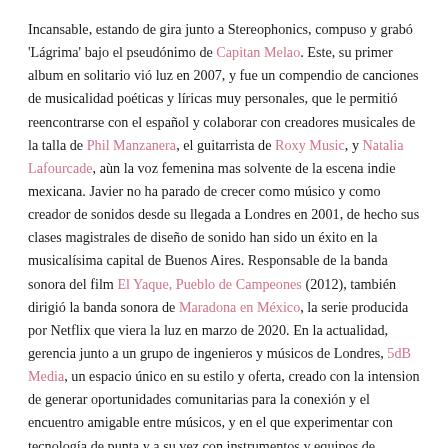Incansable, estando de gira junto a Stereophonics, compuso y grabó 'Lágrima' bajo el pseudónimo de Capitan Melao. Este, su primer album en solitario vió luz en 2007, y fue un compendio de canciones de musicalidad poéticas y líricas muy personales, que le permitió reencontrarse con el español y colaborar con creadores musicales de la talla de Phil Manzanera, el guitarrista de Roxy Music, y Natalia Lafourcade, aùn la voz femenina mas solvente de la escena indie mexicana. Javier no ha parado de crecer como músico y como creador de sonidos desde su llegada a Londres en 2001, de hecho sus clases magistrales de diseño de sonido han sido un éxito en la musicalísima capital de Buenos Aires. Responsable de la banda sonora del film El Yaque, Pueblo de Campeones (2012), también dirigió la banda sonora de Maradona en México, la serie producida por Netflix que viera la luz en marzo de 2020. En la actualidad, gerencia junto a un grupo de ingenieros y músicos de Londres, 5dB Media, un espacio único en su estilo y oferta, creado con la intension de generar oportunidades comunitarias para la conexión y el encuentro amigable entre músicos, y en el que experimentar con tecnología de punta y a su vez con instrumentos y equipos de grabación vintage, es una realidad accesible a muchos, y no solo un privilegio de pocos.